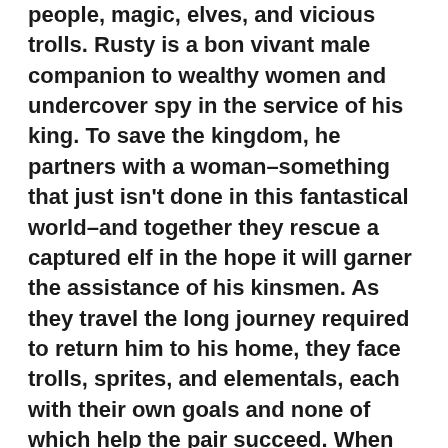people, magic, elves, and vicious trolls. Rusty is a bon vivant male companion to wealthy women and undercover spy in the service of his king. To save the kingdom, he partners with a woman–something that just isn't done in this fantastical world–and together they rescue a captured elf in the hope it will garner the assistance of his kinsmen. As they travel the long journey required to return him to his home, they face trolls, sprites, and elementals, each with their own goals and none of which help the pair succeed. When they finally reach their destination, they find this is only the beginning of a mission fraught with danger, unusual alliances, and death-defying consequences.
This elaborately constructed world of royalty and spies, intrigue and romance, truly is a mix of fantasy